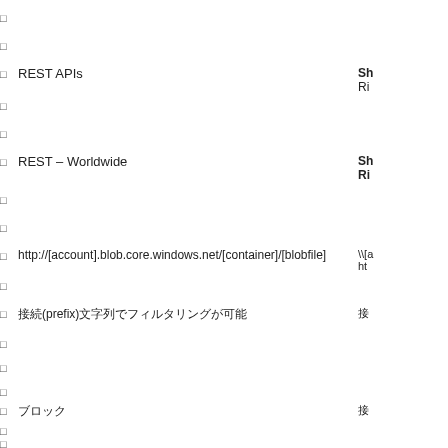□
□
□ REST APIs
□
□
□ REST – Worldwide
□
□
□ http://[account].blob.core.windows.net/[container]/[blobfile]
□
□ 接続(prefix)文字列でフィルタリングが可能
□
□
□
□ ブロック
□
□